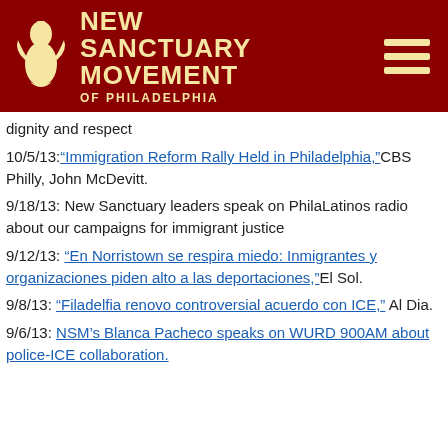[Figure (logo): New Sanctuary Movement of Philadelphia logo with dark red background, stylized bird/figure icon in cream/gold, and text 'NEW SANCTUARY MOVEMENT OF PHILADELPHIA' in cream/gold letters, with hamburger menu icon on the right]
dignity and respect
10/5/13: "Immigration Reform Rally Held in Philadelphia," CBS Philly, John McDevitt.
9/18/13: New Sanctuary leaders speak on PhilaLatinos radio about our campaigns for immigrant justice
9/12/13: "En Norristown se respira miedo: Inmigrantes y organizaciones piden alto a las deportaciones," El Sol.
9/8/13: "Filadelfia renovo controversial acuerdo con ICE," Al Dia.
9/6/13: NSM's Blanca Pacheco speaks on WURD 900AM about police-ICE collaboration.